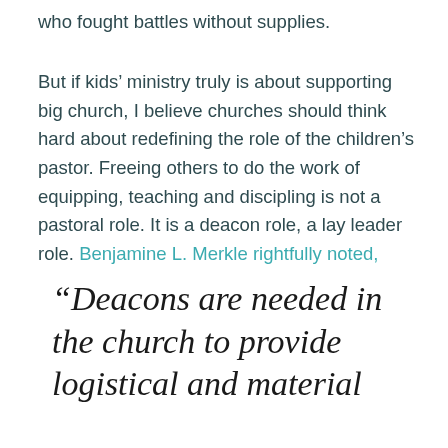who fought battles without supplies.
But if kids’ ministry truly is about supporting big church, I believe churches should think hard about redefining the role of the children’s pastor. Freeing others to do the work of equipping, teaching and discipling is not a pastoral role. It is a deacon role, a lay leader role. Benjamine L. Merkle rightfully noted,
“Deacons are needed in the church to provide logistical and material